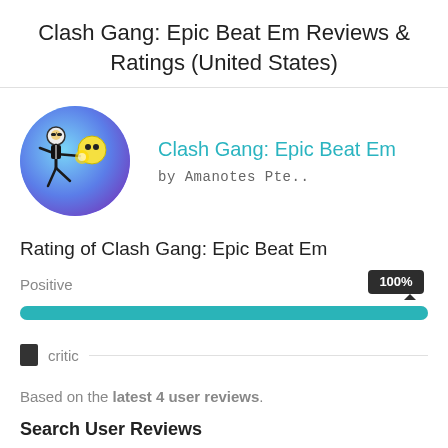Clash Gang: Epic Beat Em Reviews & Ratings (United States)
[Figure (illustration): Circular app icon showing an animated stick figure character fighting, with a yellow-glowing bald enemy, on a blue/purple gradient background]
Clash Gang: Epic Beat Em
by Amanotes Pte..
Rating of Clash Gang: Epic Beat Em
[Figure (bar-chart): Positive rating bar]
critic
Based on the latest 4 user reviews.
Search User Reviews